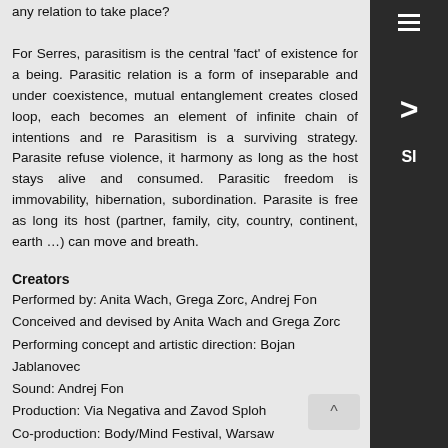any relation to take place?

For Serres, parasitism is the central 'fact' of existence for a being. Parasitic relation is a form of inseparable and under coexistence, mutual entanglement creates closed loop, each becomes an element of infinite chain of intentions and re Parasitism is a surviving strategy. Parasite refuse violence, it harmony as long as the host stays alive and consumed. Parasitic freedom is immovability, hibernation, total subordination. Parasite is free as long its host (partner, family, city, country, continent, earth …) can move and breath.
Creators
Performed by: Anita Wach, Grega Zorc, Andrej Fon
Conceived and devised by Anita Wach and Grega Zorc
Performing concept and artistic direction: Bojan Jablanovec
Sound: Andrej Fon
Production: Via Negativa and Zavod Sploh
Co-production: Body/Mind Festival, Warsaw
4.–5.10.2018, Body/Mind festival Warsaw, Poland
19.10.2018, Španski borci, Ljubljana
20.11.2018, Španski borci, Ljubljana